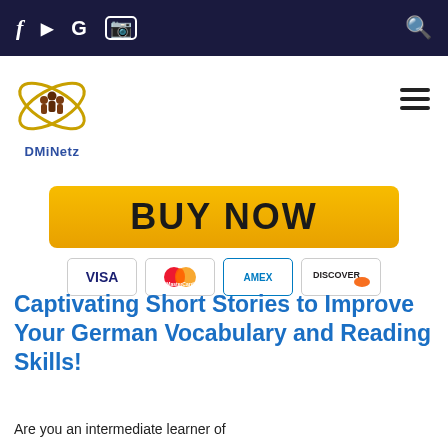f  ▶  G  ☐  🔍 (navigation bar with social/search icons)
[Figure (logo): DMiNetz logo with three figures and orbit symbol above the text 'DMiNetz']
[Figure (other): BUY NOW orange button with payment icons: VISA, MasterCard, AMEX, DISCOVER]
Captivating Short Stories to Improve Your German Vocabulary and Reading Skills!
Are you an intermediate learner of